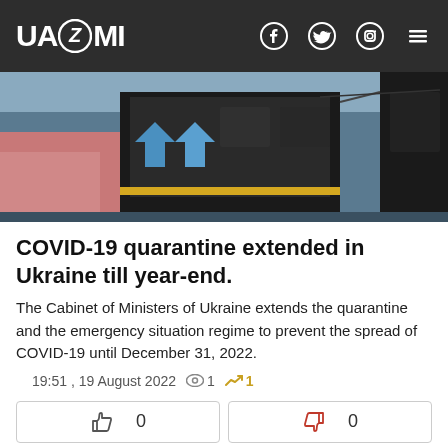UAZMI
[Figure (photo): Street/transport scene photo showing a bus or vehicle, blue and yellow colors visible]
COVID-19 quarantine extended in Ukraine till year-end.
The Cabinet of Ministers of Ukraine extends the quarantine and the emergency situation regime to prevent the spread of COVID-19 until December 31, 2022.
19:51 , 19 August 2022  👁 1  📈 1
[Figure (photo): Two portrait photos side by side of people against dark backgrounds]